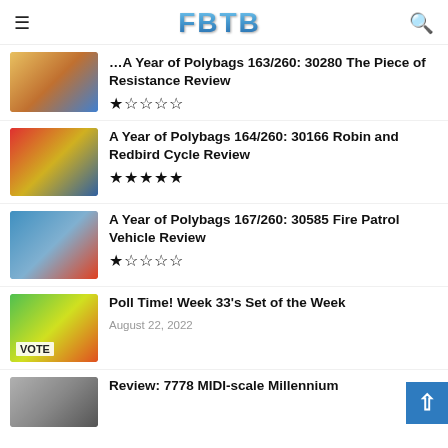FBTB
A Year of Polybags 163/260: 30280 The Piece of Resistance Review
A Year of Polybags 164/260: 30166 Robin and Redbird Cycle Review
A Year of Polybags 167/260: 30585 Fire Patrol Vehicle Review
Poll Time! Week 33's Set of the Week
Review: 7778 MIDI-scale Millennium